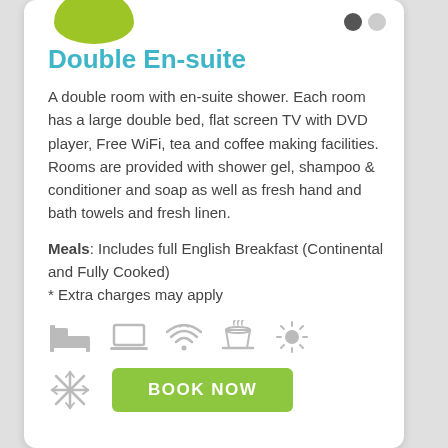Double En-suite
A double room with en-suite shower. Each room has a large double bed, flat screen TV with DVD player, Free WiFi, tea and coffee making facilities. Rooms are provided with shower gel, shampoo & conditioner and soap as well as fresh hand and bath towels and fresh linen.
Meals: Includes full English Breakfast (Continental and Fully Cooked)
* Extra charges may apply
[Figure (infographic): Row of amenity icons: bed, TV/laptop, WiFi, hot drink, sun/weather; second row: snowflake/AC icon]
[Figure (other): BOOK NOW green button]